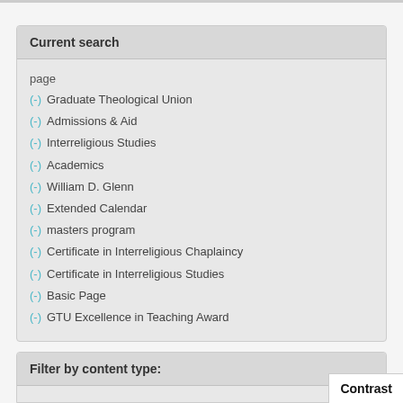Current search
page
(-) Graduate Theological Union
(-) Admissions & Aid
(-) Interreligious Studies
(-) Academics
(-) William D. Glenn
(-) Extended Calendar
(-) masters program
(-) Certificate in Interreligious Chaplaincy
(-) Certificate in Interreligious Studies
(-) Basic Page
(-) GTU Excellence in Teaching Award
Filter by content type:
Contrast